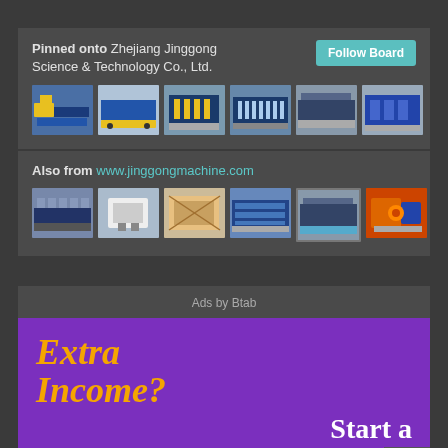Pinned onto Zhejiang Jinggong Science & Technology Co., Ltd.
Follow Board
[Figure (photo): Six thumbnail images of industrial roll-forming machines (Zhejiang Jinggong board)]
Also from www.jinggongmachine.com
[Figure (photo): Six thumbnail images of industrial machines from www.jinggongmachine.com]
Ads by Btab
[Figure (infographic): Purple advertisement banner reading 'Extra Income?' in orange italic bold and 'Start a Business' in white bold]